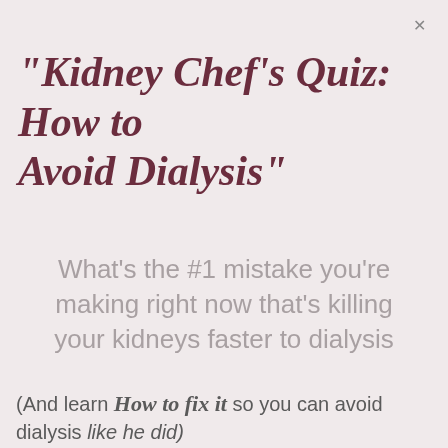"Kidney Chef's Quiz: How to Avoid Dialysis"
What's the #1 mistake you're making right now that's killing your kidneys faster to dialysis
(And learn How to fix it so you can avoid dialysis like he did)